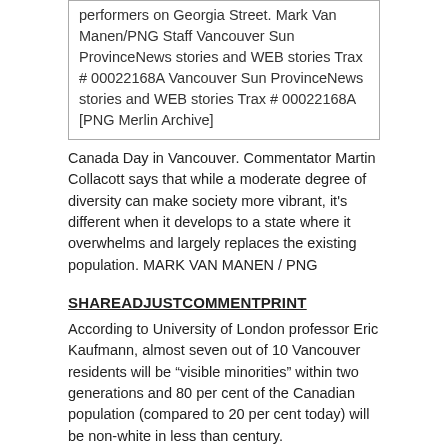performers on Georgia Street. Mark Van Manen/PNG Staff Vancouver Sun ProvinceNews stories and WEB stories Trax # 00022168A Vancouver Sun ProvinceNews stories and WEB stories Trax # 00022168A [PNG Merlin Archive]
Canada Day in Vancouver. Commentator Martin Collacott says that while a moderate degree of diversity can make society more vibrant, it's different when it develops to a state where it overwhelms and largely replaces the existing population. MARK VAN MANEN / PNG
SHAREADJUSTCOMMENTPRINT
According to University of London professor Eric Kaufmann, almost seven out of 10 Vancouver residents will be “visible minorities” within two generations and 80 per cent of the Canadian population (compared to 20 per cent today) will be non-white in less than century.
Kaufmann notes that, with its continuing high immigration intake and the fact that four out of five newcomers are visible minorities, Canada is undergoing the fastest rate